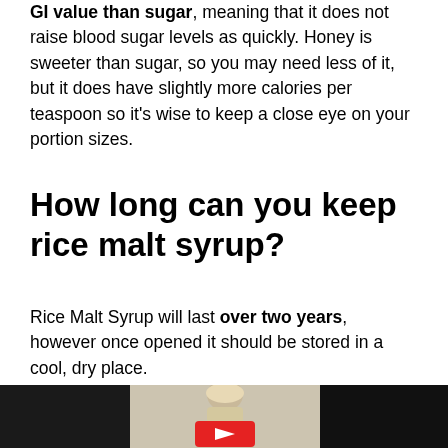GI value than sugar, meaning that it does not raise blood sugar levels as quickly. Honey is sweeter than sugar, so you may need less of it, but it does have slightly more calories per teaspoon so it's wise to keep a close eye on your portion sizes.
How long can you keep rice malt syrup?
Rice Malt Syrup will last over two years, however once opened it should be stored in a cool, dry place.
[Figure (screenshot): Video thumbnail showing a person with blonde hair in a kitchen or indoor setting, with a red YouTube play button overlay. The thumbnail has dark panels on the left and right sides.]